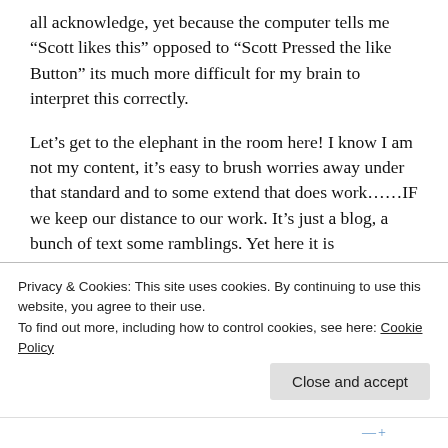all acknowledge, yet because the computer tells me “Scott likes this” opposed to “Scott Pressed the like Button” its much more difficult for my brain to interpret this correctly.
Let’s get to the elephant in the room here! I know I am not my content, it’s easy to brush worries away under that standard and to some extend that does work……..IF we keep our distance to our work. It’s just a blog, a bunch of text some ramblings. Yet here it is detrimental that we are hobbyists.
We do generally do not post because we need to.
We do it because we want to. The stuff we write
Privacy & Cookies: This site uses cookies. By continuing to use this website, you agree to their use.
To find out more, including how to control cookies, see here: Cookie Policy
Close and accept